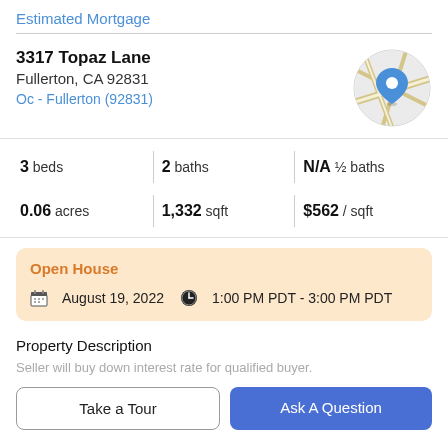Estimated Mortgage
3317 Topaz Lane
Fullerton, CA 92831
Oc - Fullerton (92831)
[Figure (map): Circular map thumbnail showing Fullerton, CA location with a blue map pin marker over a gray and tan street map.]
3 beds | 2 baths | N/A ½ baths
0.06 acres | 1,332 sqft | $562 / sqft
Open House
August 19, 2022  1:00 PM PDT - 3:00 PM PDT
Property Description
Seller will buy down interest rate for qualified buyer.
Take a Tour
Ask A Question